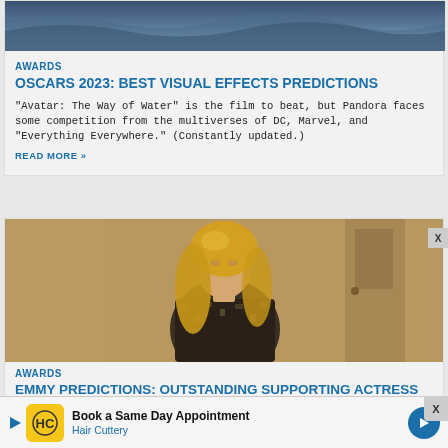[Figure (photo): Ocean/water scene photo at top of first article card]
AWARDS
OSCARS 2023: BEST VISUAL EFFECTS PREDICTIONS
“Avatar: The Way of Water” is the film to beat, but Pandora faces some competition from the multiverses of DC, Marvel, and “Everything Everywhere.” (Constantly updated.)
READ MORE »
[Figure (photo): Woman with blonde hair in dark patterned outfit, standing in a hallway]
AWARDS
EMMY PREDICTIONS: OUTSTANDING SUPPORTING ACTRESS IN A LIMITED OR
[Figure (other): Advertisement banner: Book a Same Day Appointment - Hair Cuttery]